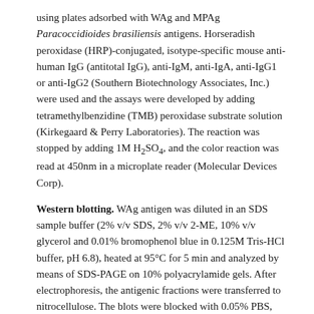using plates adsorbed with WAg and MPAg Paracoccidioides brasiliensis antigens. Horseradish peroxidase (HRP)-conjugated, isotype-specific mouse anti-human IgG (antitotal IgG), anti-IgM, anti-IgA, anti-IgG1 or anti-IgG2 (Southern Biotechnology Associates, Inc.) were used and the assays were developed by adding tetramethylbenzidine (TMB) peroxidase substrate solution (Kirkegaard & Perry Laboratories). The reaction was stopped by adding 1M H₂SO₄, and the color reaction was read at 450nm in a microplate reader (Molecular Devices Corp).
Western blotting. WAg antigen was diluted in an SDS sample buffer (2% v/v SDS, 2% v/v 2-ME, 10% v/v glycerol and 0.01% bromophenol blue in 0.125M Tris-HCl buffer, pH 6.8), heated at 95°C for 5 min and analyzed by means of SDS-PAGE on 10% polyacrylamide gels. After electrophoresis, the antigenic fractions were transferred to nitrocellulose. The blots were blocked with 0.05% PBS, Tween 20 and 5% nonfat dried milk for 30 min. Serum samples (1:100) were added to each strip for 60 min at room temperature and then they were washed with blocking buffer. HRP-conjugated isotype-specific mouse anti-human anti-IgG1 (1:1,000) was added to each strip. After 60 min, the strips were washed and the color reaction was developed with 0.06% 4-